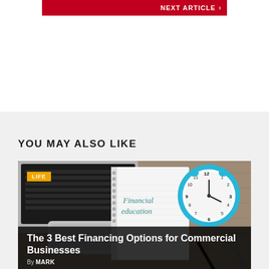NEXT ARTICLE →
YOU MAY ALSO LIKE
[Figure (photo): A desk flatlay showing a laptop keyboard, a spiral notebook with 'Financial education' written in cursive, a blue alarm clock, scissors, and a pen on a wooden surface. A yellow 'LIFE' badge is overlaid in the top-left corner.]
The 3 Best Financing Options for Commercial Businesses
By MARK